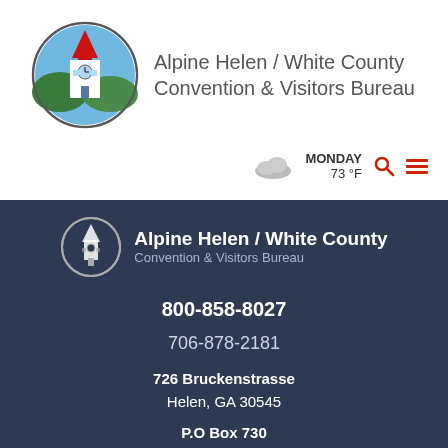[Figure (logo): Alpine Helen / White County Convention & Visitors Bureau circular logo with colorful clock tower building, mountains and blue sky]
Alpine Helen / White County Convention & Visitors Bureau
MONDAY 73 °F
[Figure (logo): Alpine Helen / White County Convention & Visitors Bureau circular logo, white/grey version on dark background]
Alpine Helen / White County Convention & Visitors Bureau
800-858-8027
706-878-2181
726 Bruckenstrasse
Helen, GA 30545
P.O Box 730
Helen, GA 30545